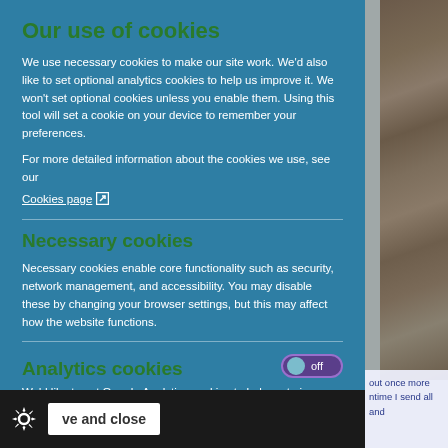Our use of cookies
We use necessary cookies to make our site work. We'd also like to set optional analytics cookies to help us improve it. We won't set optional cookies unless you enable them. Using this tool will set a cookie on your device to remember your preferences.
For more detailed information about the cookies we use, see our Cookies page
Necessary cookies
Necessary cookies enable core functionality such as security, network management, and accessibility. You may disable these by changing your browser settings, but this may affect how the website functions.
Analytics cookies
We'd like to set Google Analytics cookies to help us to improve our website by collecting and reporting information on how you use it. The cookies collect information in a way that does not directly identify anyone. For more information on how these cookies work, please see our 'Cookies page'.
out once more
ntime I send all
and